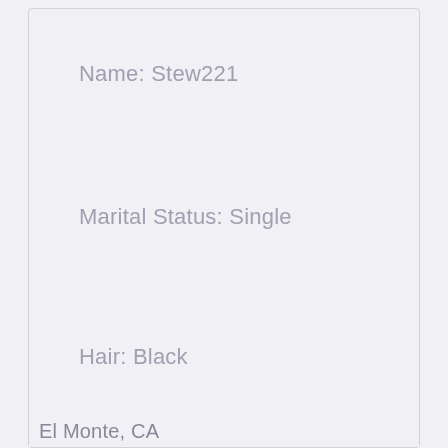Name: Stew221
Marital Status: Single
Hair: Black
City: El Monte, California
[Figure (illustration): Orange/peach heart emoji]
El Monte, CA ...